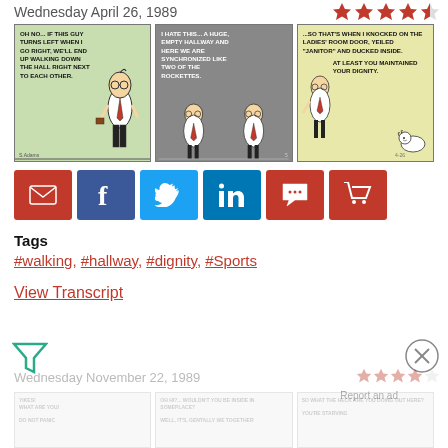Wednesday April 26, 1989
[Figure (illustration): Three-panel Dilbert comic strip from April 26, 1989. Panel 1 (green background): Dilbert thinks 'OH NO... IF THIS GUY TURNS LEFT WHEN I GO RIGHT, WE'LL END UP WALKING DOWN THE HALL RIGHT NEXT TO EACH OTHER.' Panel 2 (gray background): 'I HATE THIS... A HUGE, EMPTY HALLWAY AND HERE WE ARE SYNCHRONIZED LIKE TWO OF THE ROCKETTES.' Panel 3 (yellow background): '...SO THAT'S WHEN I KNOCKED ON THE LADIES' ROOM DOOR, YEILED "JANITOR" AND DUCKED INSIDE.' Response: 'AT LEAST YOU MAINTAINED YOUR DIGNITY.']
[Figure (infographic): Social sharing buttons: email (red), Facebook (dark blue), Twitter (light blue), LinkedIn (blue), comment (red), shopping cart (red)]
Tags
#walking, #hallway, #dignity, #Sports
View Transcript
[Figure (illustration): Filter/funnel icon in teal color]
[Figure (illustration): Close (X) circle icon]
Wednesday November 22, 1989
[Figure (illustration): Next comic strip preview (faded): Wednesday November 22, 1989 with three panels showing faded comic art. Text includes YIKES!, WHAT ARE YOU!, DO NOT PANIC, OH HI?... WOULDN'T YOU BE INSIDE IN SOMEPLACE?, WELL, IT'S, GENTALLY WE TOGETHER, SO WHAT THE HECK ARE YOU DOING OUT HERE?, YOU'RE STARVING]
Report an ad